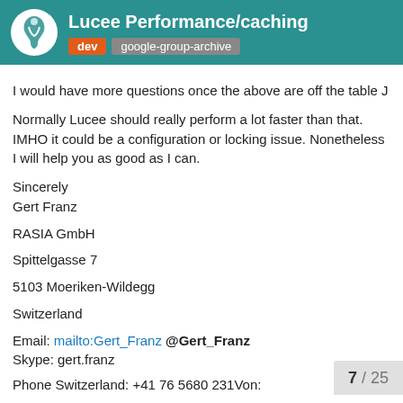Lucee Performance/caching | dev | google-group-archive
I would have more questions once the above are off the table J
Normally Lucee should really perform a lot faster than that. IMHO it could be a configuration or locking issue. Nonetheless I will help you as good as I can.
Sincerely
Gert Franz
RASIA GmbH
Spittelgasse 7
5103 Moeriken-Wildegg
Switzerland
Email: mailto:Gert_Franz @Gert_Franz
Skype: gert.franz
Phone Switzerland: +41 76 5680 231Von:
7 / 25